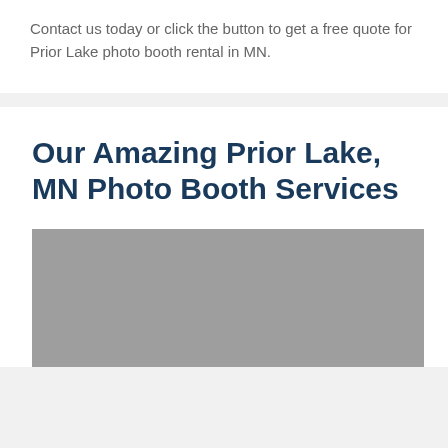Contact us today or click the button to get a free quote for Prior Lake photo booth rental in MN.
Our Amazing Prior Lake, MN Photo Booth Services
[Figure (photo): Gray placeholder image for Prior Lake photo booth services]